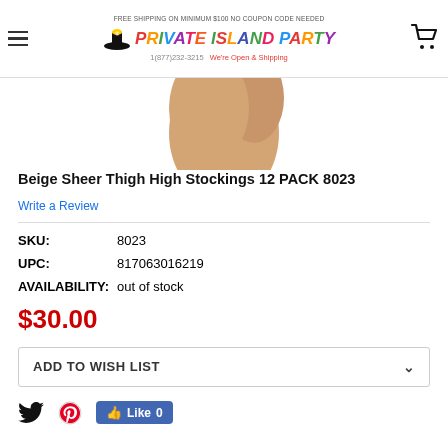FREE SHIPPING ON MINIMUM $100 NO COUPON CODE NEEDED | PRIVATE ISLAND PARTY | 1(877)232-3215 We're Open & Shipping
[Figure (photo): Partial product image showing beige stocking on a leg/foot, cropped at top]
Beige Sheer Thigh High Stockings 12 PACK 8023
Write a Review
SKU: 8023
UPC: 817063016219
AVAILABILITY: out of stock
$30.00
ADD TO WISH LIST
Like 0